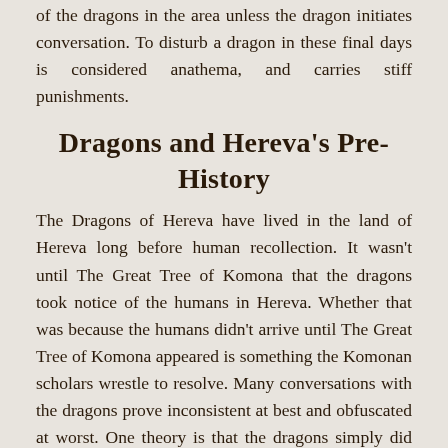of the dragons in the area unless the dragon initiates conversation. To disturb a dragon in these final days is considered anathema, and carries stiff punishments.
Dragons and Hereva's Pre-History
The Dragons of Hereva have lived in the land of Hereva long before human recollection. It wasn't until The Great Tree of Komona that the dragons took notice of the humans in Hereva. Whether that was because the humans didn't arrive until The Great Tree of Komona appeared is something the Komonan scholars wrestle to resolve. Many conversations with the dragons prove inconsistent at best and obfuscated at worst. One theory is that the dragons simply did not pay any attention to the humans until they wielded magic, much in the same way that humans don't pay attention to the ants until they start